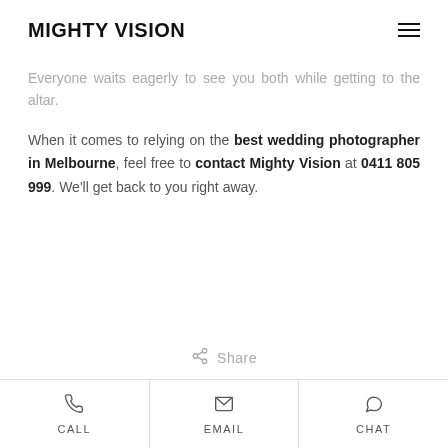MIGHTY VISION
Everyone waits eagerly to see you both while getting to the altar.
When it comes to relying on the best wedding photographer in Melbourne, feel free to contact Mighty Vision at 0411 805 999. We'll get back to you right away.
Share
CALL   EMAIL   CHAT